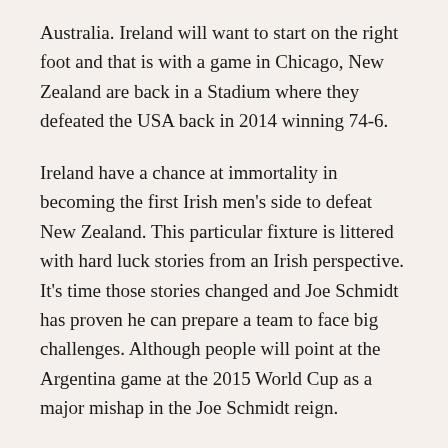Australia. Ireland will want to start on the right foot and that is with a game in Chicago, New Zealand are back in a Stadium where they defeated the USA back in 2014 winning 74-6.
Ireland have a chance at immortality in becoming the first Irish men's side to defeat New Zealand. This particular fixture is littered with hard luck stories from an Irish perspective. It's time those stories changed and Joe Schmidt has proven he can prepare a team to face big challenges. Although people will point at the Argentina game at the 2015 World Cup as a major mishap in the Joe Schmidt reign.
November 2013 will be a major motivating factor over the next few weeks, Ireland can use Canada as a game to give some new talent the chance to shine. Guys like Joey Carbery and Gary Ringrose will get an early chance to show the world what they have shown in the blue of